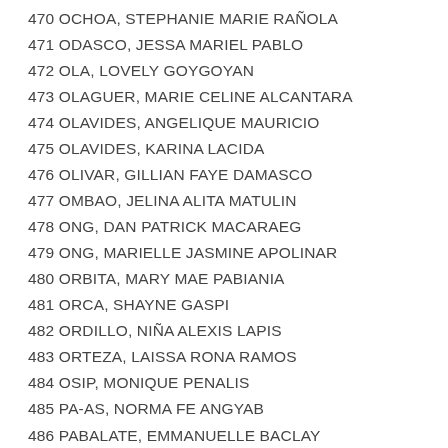470 OCHOA, STEPHANIE MARIE RAÑOLA
471 ODASCO, JESSA MARIEL PABLO
472 OLA, LOVELY GOYGOYAN
473 OLAGUER, MARIE CELINE ALCANTARA
474 OLAVIDES, ANGELIQUE MAURICIO
475 OLAVIDES, KARINA LACIDA
476 OLIVAR, GILLIAN FAYE DAMASCO
477 OMBAO, JELINA ALITA MATULIN
478 ONG, DAN PATRICK MACARAEG
479 ONG, MARIELLE JASMINE APOLINAR
480 ORBITA, MARY MAE PABIANIA
481 ORCA, SHAYNE GASPI
482 ORDILLO, NIÑA ALEXIS LAPIS
483 ORTEZA, LAISSA RONA RAMOS
484 OSIP, MONIQUE PENALIS
485 PA-AS, NORMA FE ANGYAB
486 PABALATE, EMMANUELLE BACLAY